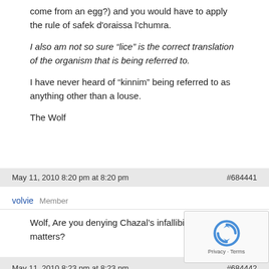come from an egg?) and you would have to apply the rule of safek d'oraissa l'chumra.
I also am not so sure “lice” is the correct translation of the organism that is being referred to.
I have never heard of “kinnim” being referred to as anything other than a louse.
The Wolf
May 11, 2010 8:20 pm at 8:20 pm   #684441
volvie   Member
Wolf, Are you denying Chazal’s infallibility in halachic matters?
May 11, 2010 8:23 pm at 8:23 pm   #684442